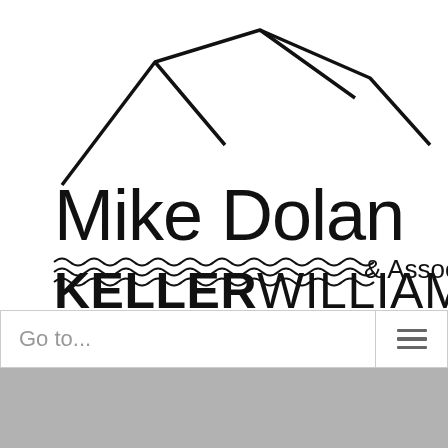[Figure (logo): Mike Dolan & Associates Keller Williams logo with mountain peaks graphic above the text, wavy lines decoration, and bold KELLERWILLIAMS. text at bottom]
Go to...
[Figure (other): Gray background section at bottom of page]